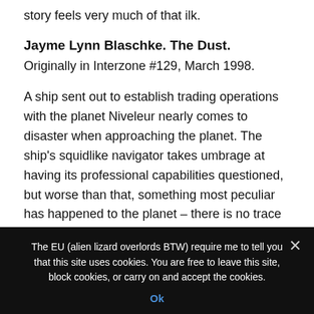story feels very much of that ilk.
Jayme Lynn Blaschke. The Dust.
Originally in Interzone #129, March 1998.
A ship sent out to establish trading operations with the planet Niveleur nearly comes to disaster when approaching the planet. The ship's squidlike navigator takes umbrage at having its professional capabilities questioned, but worse than that, something most peculiar has happened to the planet – there is no trace of intelligent life on the planet, nor trace of there ever having been any.
The EU (alien lizard overlords BTW) require me to tell you that this site uses cookies. You are free to leave this site, block cookies, or carry on and accept the cookies.
Ok